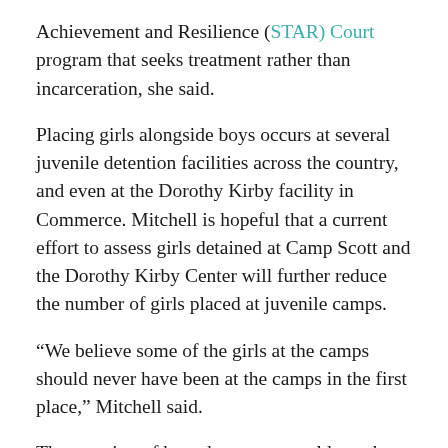Achievement and Resilience (STAR) Court program that seeks treatment rather than incarceration, she said.
Placing girls alongside boys occurs at several juvenile detention facilities across the country, and even at the Dorothy Kirby facility in Commerce. Mitchell is hopeful that a current effort to assess girls detained at Camp Scott and the Dorothy Kirby Center will further reduce the number of girls placed at juvenile camps.
“We believe some of the girls at the camps should never have been at the camps in the first place,” Mitchell said.
The question of how the county could use the potentially vacant facilities and cost savings related to the camp closures remains unknown for now. Mitchell said the county is looking at using one of the camps scheduled for closure as a job placement center, while commissioners discussed the possibility of using another facility to help those with substance abuse related